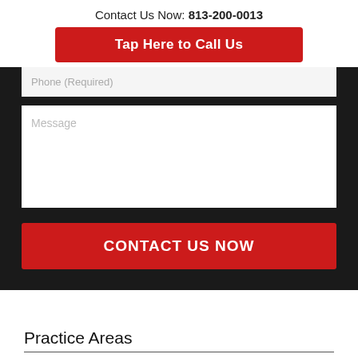Contact Us Now: 813-200-0013
Tap Here to Call Us
Phone (Required)
Message
CONTACT US NOW
Practice Areas
Investment Loss Recovery